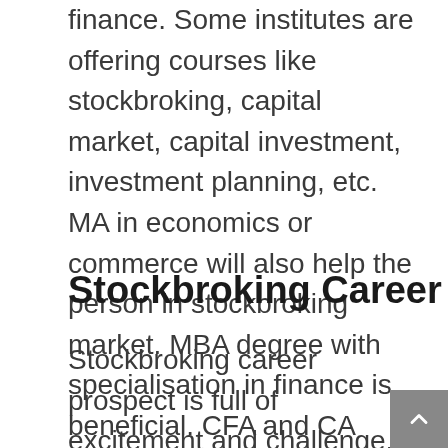finance. Some institutes are offering courses like stockbroking, capital market, capital investment, investment planning, etc. MA in economics or commerce will also help the person in stockbroking market. MBA degree with specialisation in finance is beneficial. CFA and CA degree can be giving you a good start.
Stockbroking Career
Stockbroking career prospect is full of excitement and challenge. Stockbroker offers financial counselling and financial portfolios to their clients. You make aware